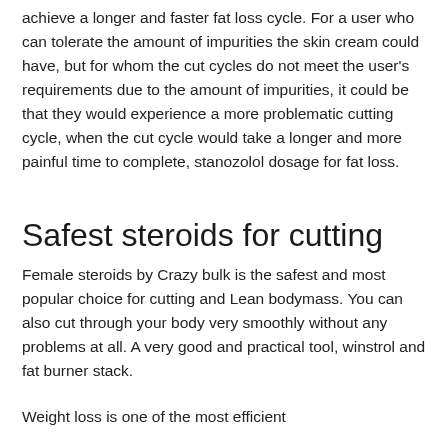achieve a longer and faster fat loss cycle. For a user who can tolerate the amount of impurities the skin cream could have, but for whom the cut cycles do not meet the user's requirements due to the amount of impurities, it could be that they would experience a more problematic cutting cycle, when the cut cycle would take a longer and more painful time to complete, stanozolol dosage for fat loss.
Safest steroids for cutting
Female steroids by Crazy bulk is the safest and most popular choice for cutting and Lean bodymass. You can also cut through your body very smoothly without any problems at all. A very good and practical tool, winstrol and fat burner stack.
Weight loss is one of the most efficient